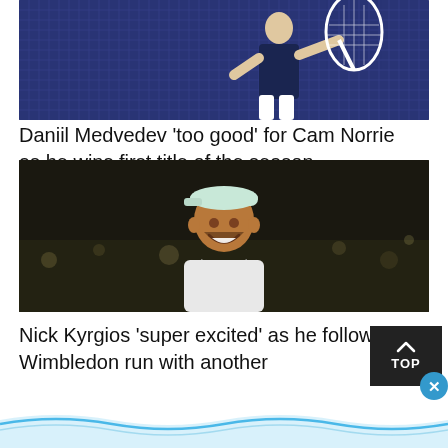[Figure (photo): Tennis player (Daniil Medvedev) holding a racket in front of a dark blue tennis net background]
Daniil Medvedev ‘too good’ for Cam Norrie as he wins first title of the season
[Figure (photo): Tennis player (Nick Kyrgios) smiling, wearing a white cap backwards, in front of a dark crowd background]
Nick Kyrgios ‘super excited’ as he follows Wimbledon run with another